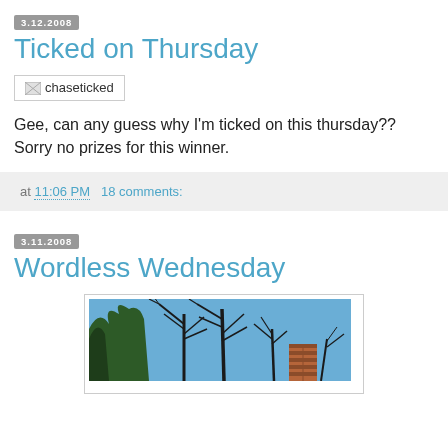3.12.2008
Ticked on Thursday
[Figure (photo): Broken image placeholder labeled 'chaseticked']
Gee, can any guess why I'm ticked on this thursday?? Sorry no prizes for this winner.
at 11:06 PM   18 comments:
3.11.2008
Wordless Wednesday
[Figure (photo): Outdoor photo showing bare winter trees with branches against a blue sky, with a brick chimney visible in the lower right.]